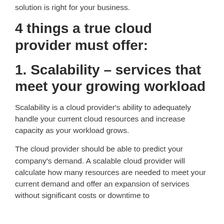solution is right for your business.
4 things a true cloud provider must offer:
1. Scalability – services that meet your growing workload
Scalability is a cloud provider's ability to adequately handle your current cloud resources and increase capacity as your workload grows.
The cloud provider should be able to predict your company's demand. A scalable cloud provider will calculate how many resources are needed to meet your current demand and offer an expansion of services without significant costs or downtime to